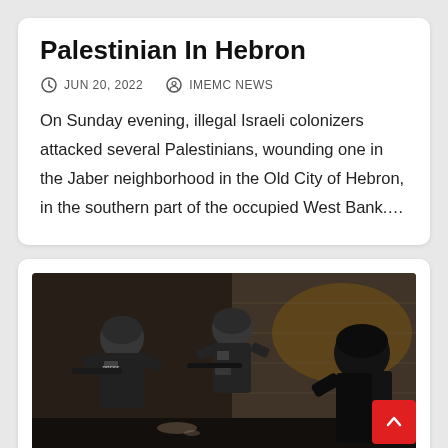Palestinian In Hebron
JUN 20, 2022   IMEMC NEWS
On Sunday evening, illegal Israeli colonizers attacked several Palestinians, wounding one in the Jaber neighborhood in the Old City of Hebron, in the southern part of the occupied West Bank....
[Figure (photo): Armed soldiers in tactical gear photographed at night in what appears to be a stone-walled urban environment]